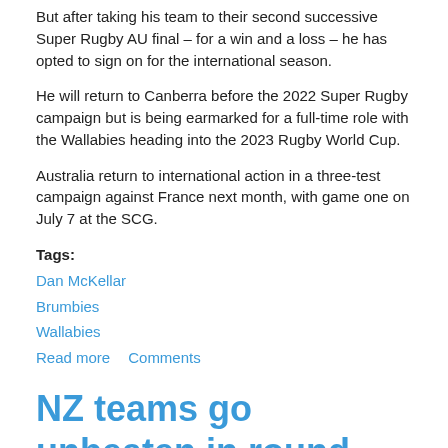But after taking his team to their second successive Super Rugby AU final – for a win and a loss – he has opted to sign on for the international season.
He will return to Canberra before the 2022 Super Rugby campaign but is being earmarked for a full-time role with the Wallabies heading into the 2023 Rugby World Cup.
Australia return to international action in a three-test campaign against France next month, with game one on July 7 at the SCG.
Tags:
Dan McKellar
Brumbies
Wallabies
Read more   Comments
NZ teams go unbeaten in round one of Super Rugby trans-Tasman